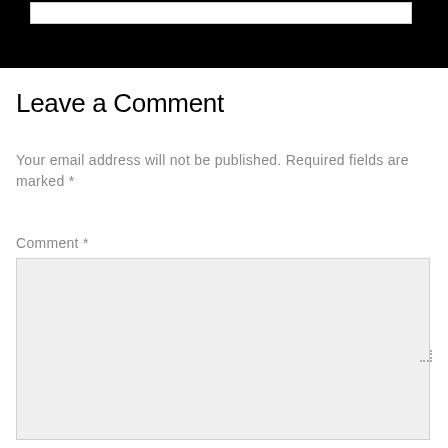[Figure (screenshot): Black banner/header bar with a white search or input box near the top]
Leave a Comment
Your email address will not be published. Required fields are marked *
Comment *
[Figure (screenshot): Empty comment textarea input box with light gray background]